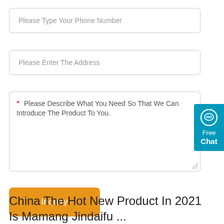Please Type Your Phone Number
Please Enter The Address
* Please Describe What You Need So That We Can Introduce The Product To You.
Inquiry
[Figure (screenshot): Free Chat widget button, teal/blue background with chat bubble icon]
China The Hot New Product In 2021 Is Mamang Jindaifu ...